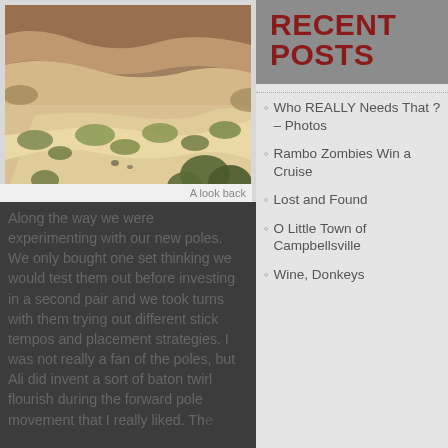[Figure (photo): Desert landscape with rocky cliffs, sandy terrain, and sparse desert shrubs/yucca plants. Looking back along a trail.]
A look back
Along the way we were experimenting with our new poles. We only bought one set thinking we would test them out before investing in a second pair and we took turns with them trying out different stick tempos and placement strategies. I was not really a fan of the poles, but Ali did invent a sort of baton twirl flourish during the forward pole movement that I really liked. The baton twirl really…
RECENT POSTS
Who REALLY Needs That ? – Photos
Rambo Zombies Win a Cruise
Lost and Found
O Little Town of Campbellsville
Wine, Donkeys